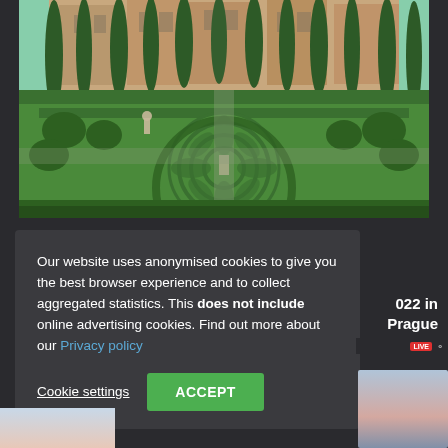[Figure (photo): An Italian formal garden with tall cypress trees, trimmed hedges, topiary bushes, and a circular maze pattern in green, with a building facade visible in the background under a clear sky.]
Our website uses anonymised cookies to give you the best browser experience and to collect aggregated statistics. This does not include online advertising cookies. Find out more about our Privacy policy
Cookie settings
ACCEPT
022 in Prague